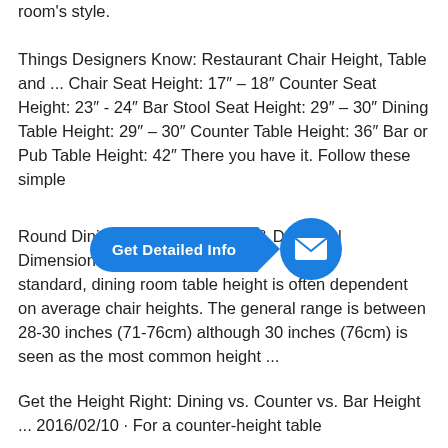room's style.
Things Designers Know: Restaurant Chair Height, Table and ... Chair Seat Height: 17″ – 18″ Counter Seat Height: 23″ - 24″ Bar Stool Seat Height: 29″ – 30″ Dining Table Height: 29″ – 30″ Counter Table Height: 36″ Bar or Pub Table Height: 42″ There you have it. Follow these simple
Round Dining Table Dimensions & Drawing | Dimensions.com D... and standard, dining room table height is often dependent on average chair heights. The general range is between 28-30 inches (71-76cm) although 30 inches (76cm) is seen as the most common height ...
[Figure (infographic): Blue CTA button overlay reading 'Get Detailed Info' with arrow pointing to a blue circle containing an envelope/email icon]
Get the Height Right: Dining vs. Counter vs. Bar Height ... 2016/02/10 · For a counter-height table